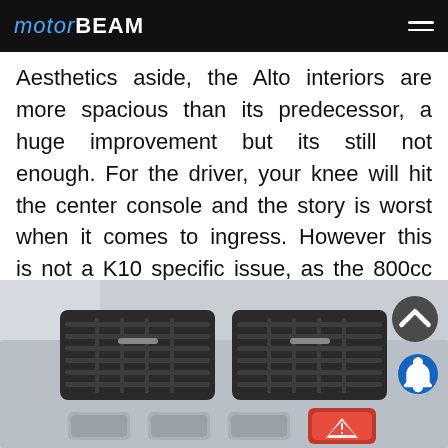MOTORBEAM
Aesthetics aside, the Alto interiors are more spacious than its predecessor, a huge improvement but its still not enough. For the driver, your knee will hit the center console and the story is worst when it comes to ingress. However this is not a K10 specific issue, as the 800cc Alto is no different. At similar prices, other cars in the competition give you more space on the inside.
[Figure (photo): Close-up photo of the Alto car dashboard interior showing two rectangular AC vents, hazard light button (red with triangle), and other control buttons below the vents.]